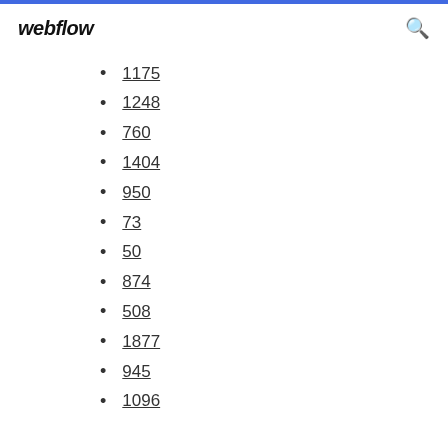webflow
1175
1248
760
1404
950
73
50
874
508
1877
945
1096